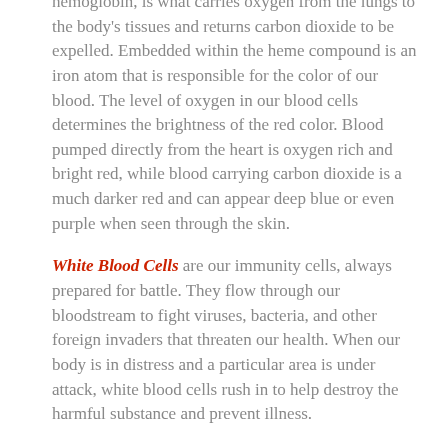hemoglobin, is what carries oxygen from the lungs to the body's tissues and returns carbon dioxide to be expelled. Embedded within the heme compound is an iron atom that is responsible for the color of our blood. The level of oxygen in our blood cells determines the brightness of the red color. Blood pumped directly from the heart is oxygen rich and bright red, while blood carrying carbon dioxide is a much darker red and can appear deep blue or even purple when seen through the skin.
White Blood Cells are our immunity cells, always prepared for battle. They flow through our bloodstream to fight viruses, bacteria, and other foreign invaders that threaten our health. When our body is in distress and a particular area is under attack, white blood cells rush in to help destroy the harmful substance and prevent illness.
There are many different types of white blood cells that